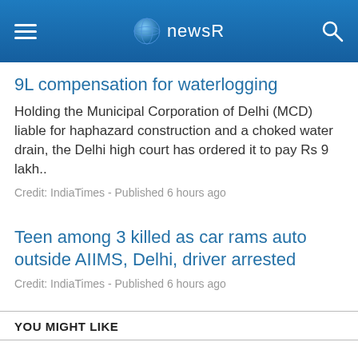newsR
9L compensation for waterlogging
Holding the Municipal Corporation of Delhi (MCD) liable for haphazard construction and a choked water drain, the Delhi high court has ordered it to pay Rs 9 lakh..
Credit: IndiaTimes - Published 6 hours ago
Teen among 3 killed as car rams auto outside AIIMS, Delhi, driver arrested
Credit: IndiaTimes - Published 6 hours ago
YOU MIGHT LIKE